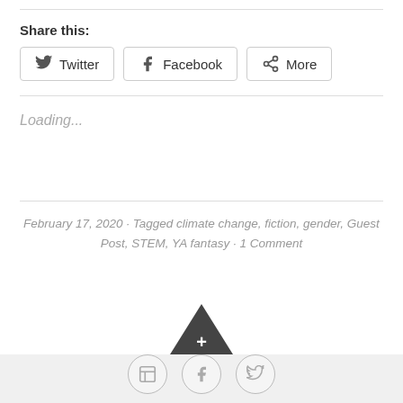Share this:
Twitter  Facebook  More
Loading...
February 17, 2020 · Tagged climate change, fiction, gender, Guest Post, STEM, YA fantasy · 1 Comment